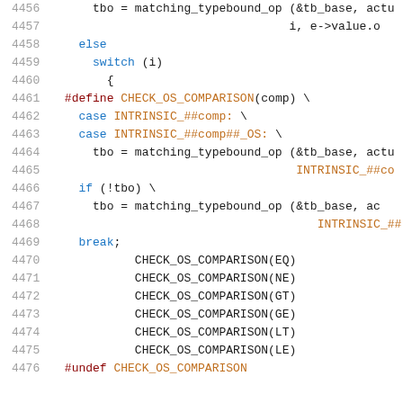[Figure (screenshot): Source code listing showing C/C++ code with line numbers 4456-4476. The code contains a macro definition CHECK_OS_COMPARISON and related type-bound operator matching logic with switch/case statements.]